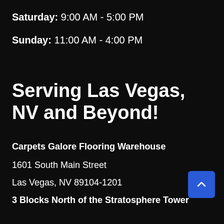Saturday: 9:00 AM - 5:00 PM
Sunday: 11:00 AM - 4:00 PM
Serving Las Vegas, NV and Beyond!
Carpets Galore Flooring Warehouse
1601 South Main Street
Las Vegas, NV 89104-1201
3 Blocks North of the Stratosphere Tower